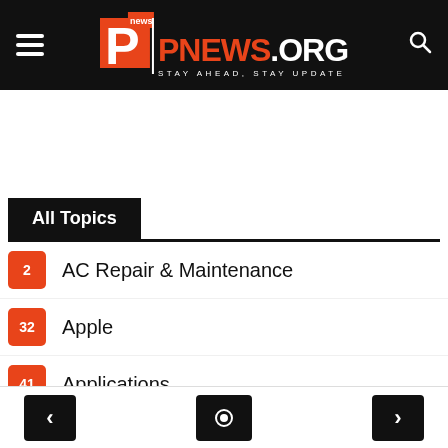PNEWS.ORG — STAY AHEAD, STAY UPDATE
All Topics
2  AC Repair & Maintenance
32  Apple
41  Applications
3  Automobile
51  Breaking News
2  Browser